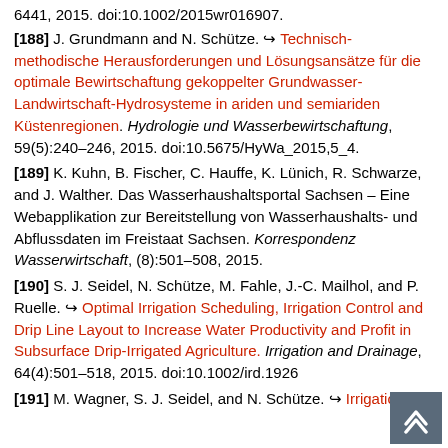6441, 2015. doi:10.1002/2015wr016907.
[188] J. Grundmann and N. Schütze. Technisch-methodische Herausforderungen und Lösungsansätze für die optimale Bewirtschaftung gekoppelter Grundwasser-Landwirtschaft-Hydrosysteme in ariden und semiariden Küstenregionen. Hydrologie und Wasserbewirtschaftung, 59(5):240–246, 2015. doi:10.5675/HyWa_2015,5_4.
[189] K. Kuhn, B. Fischer, C. Hauffe, K. Lünich, R. Schwarze, and J. Walther. Das Wasserhaushaltsportal Sachsen – Eine Webapplikation zur Bereitstellung von Wasserhaushalts- und Abflussdaten im Freistaat Sachsen. Korrespondenz Wasserwirtschaft, (8):501–508, 2015.
[190] S. J. Seidel, N. Schütze, M. Fahle, J.-C. Mailhol, and P. Ruelle. Optimal Irrigation Scheduling, Irrigation Control and Drip Line Layout to Increase Water Productivity and Profit in Subsurface Drip-Irrigated Agriculture. Irrigation and Drainage, 64(4):501–518, 2015. doi:10.1002/ird.1926
[191] M. Wagner, S. J. Seidel, and N. Schütze. Irrigation